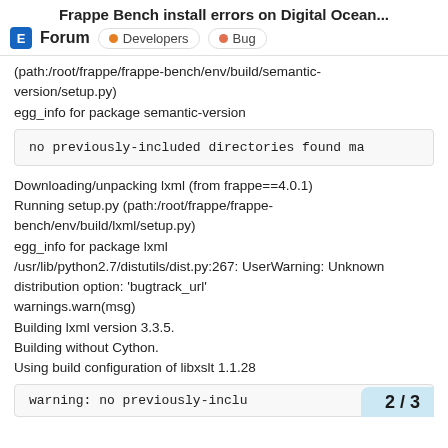Frappe Bench install errors on Digital Ocean...
Forum  • Developers  • Bug
(path:/root/frappe/frappe-bench/env/build/semantic-version/setup.py)
egg_info for package semantic-version
no previously-included directories found ma
Downloading/unpacking lxml (from frappe==4.0.1)
Running setup.py (path:/root/frappe/frappe-bench/env/build/lxml/setup.py)
egg_info for package lxml
/usr/lib/python2.7/distutils/dist.py:267: UserWarning: Unknown
distribution option: 'bugtrack_url'
warnings.warn(msg)
Building lxml version 3.3.5.
Building without Cython.
Using build configuration of libxslt 1.1.28
2 / 3
warning: no previously-inclu